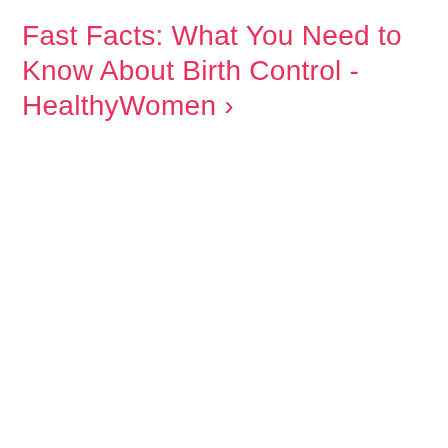Fast Facts: What You Need to Know About Birth Control - HealthyWomen ›